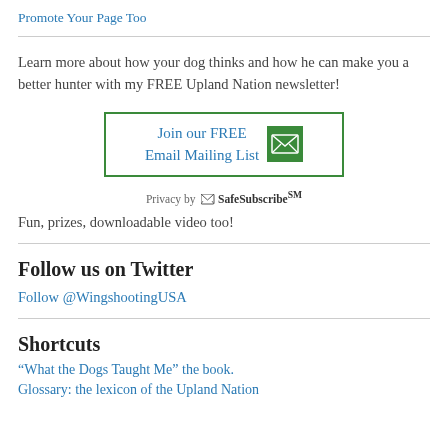Promote Your Page Too
Learn more about how your dog thinks and how he can make you a better hunter with my FREE Upland Nation newsletter!
[Figure (other): Email signup widget with green border showing 'Join our FREE Email Mailing List' in blue text with a green envelope icon]
Privacy by SafeSubscribeSM
Fun, prizes, downloadable video too!
Follow us on Twitter
Follow @WingshootingUSA
Shortcuts
“What the Dogs Taught Me” the book.
Glossary: the lexicon of the Upland Nation